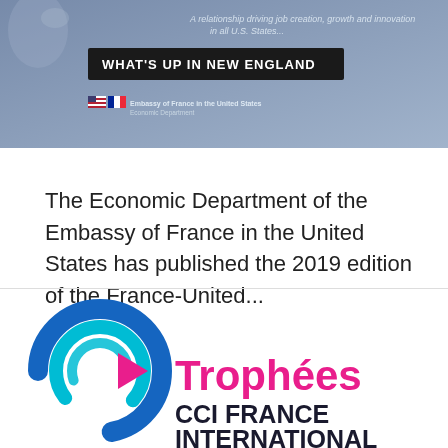[Figure (illustration): Banner header for 'What's Up in New England' from the Embassy of France in the United States, Economic Department. Blue-grey background with tagline 'A relationship driving job creation, growth and innovation' and French/US flag icons.]
The Economic Department of the Embassy of France in the United States has published the 2019 edition of the France-United...
[Figure (logo): Trophées CCI France International logo — circular icon in blue/cyan/pink with a pink triangle, beside text 'Trophées CCI FRANCE INTERNATIONAL' in pink and dark navy.]